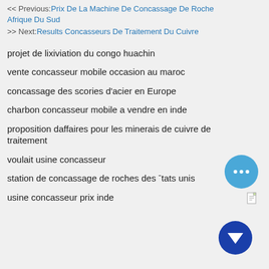<< Previous: Prix De La Machine De Concassage De Roche Afrique Du Sud
>> Next: Results Concasseurs De Traitement Du Cuivre
projet de lixiviation du congo huachin
vente concasseur mobile occasion au maroc
concassage des scories d'acier en Europe
charbon concasseur mobile a vendre en inde
proposition daffaires pour les minerais de cuivre de traitement
voulait usine concasseur
station de concassage de roches des États unis
usine concasseur prix inde